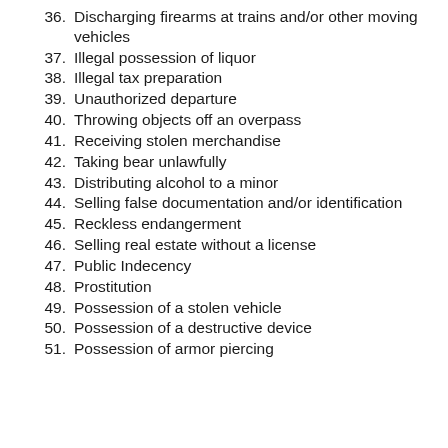36. Discharging firearms at trains and/or other moving vehicles
37. Illegal possession of liquor
38. Illegal tax preparation
39. Unauthorized departure
40. Throwing objects off an overpass
41. Receiving stolen merchandise
42. Taking bear unlawfully
43. Distributing alcohol to a minor
44. Selling false documentation and/or identification
45. Reckless endangerment
46. Selling real estate without a license
47. Public Indecency
48. Prostitution
49. Possession of a stolen vehicle
50. Possession of a destructive device
51. Possession of armor piercing